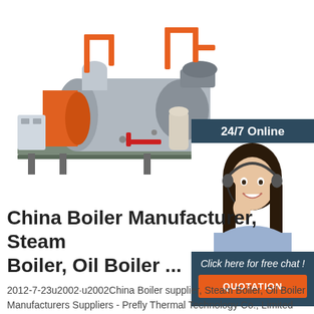[Figure (photo): Industrial steam/oil boiler unit with orange pipes, gray cylindrical body, orange flame component, mounted on a metal frame with various fittings and valves.]
[Figure (illustration): 24/7 Online chat widget showing a smiling female customer service representative wearing a headset, with a dark blue background, italic text 'Click here for free chat!' and an orange QUOTATION button.]
China Boiler Manufacturer, Steam Boiler, Oil Boiler ...
2012-7-23u2002·u2002China Boiler supplier, Steam Boiler, Oil Boiler Manufacturers Suppliers - Prefly Thermal Technology Co., Limited